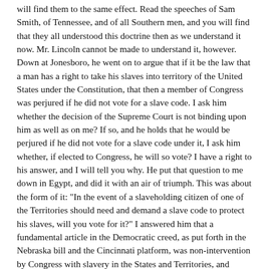will find them to the same effect. Read the speeches of Sam Smith, of Tennessee, and of all Southern men, and you will find that they all understood this doctrine then as we understand it now. Mr. Lincoln cannot be made to understand it, however. Down at Jonesboro, he went on to argue that if it be the law that a man has a right to take his slaves into territory of the United States under the Constitution, that then a member of Congress was perjured if he did not vote for a slave code. I ask him whether the decision of the Supreme Court is not binding upon him as well as on me? If so, and he holds that he would be perjured if he did not vote for a slave code under it, I ask him whether, if elected to Congress, he will so vote? I have a right to his answer, and I will tell you why. He put that question to me down in Egypt, and did it with an air of triumph. This was about the form of it: "In the event of a slaveholding citizen of one of the Territories should need and demand a slave code to protect his slaves, will you vote for it?" I answered him that a fundamental article in the Democratic creed, as put forth in the Nebraska bill and the Cincinnati platform, was non-intervention by Congress with slavery in the States and Territories, and hence, that I would not vote in Congress